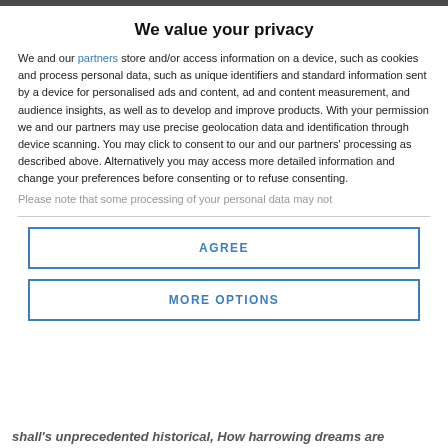We value your privacy
We and our partners store and/or access information on a device, such as cookies and process personal data, such as unique identifiers and standard information sent by a device for personalised ads and content, ad and content measurement, and audience insights, as well as to develop and improve products. With your permission we and our partners may use precise geolocation data and identification through device scanning. You may click to consent to our and our partners' processing as described above. Alternatively you may access more detailed information and change your preferences before consenting or to refuse consenting.
Please note that some processing of your personal data may not
AGREE
MORE OPTIONS
shall's unprecedented historical, How harrowing dreams are